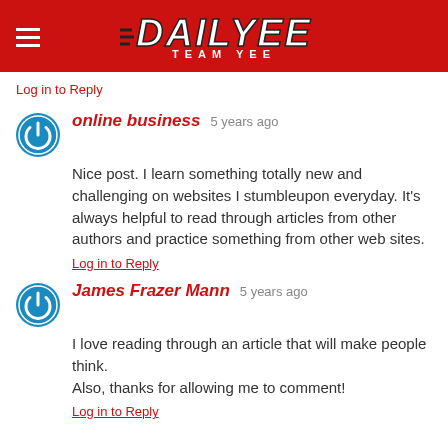[Figure (logo): DailyYee Team Yee logo on red header bar with hamburger menu icon]
Log in to Reply
online business 5 years ago
Nice post. I learn something totally new and challenging on websites I stumbleupon everyday. It's always helpful to read through articles from other authors and practice something from other web sites.
Log in to Reply
James Frazer Mann 5 years ago
I love reading through an article that will make people think.
Also, thanks for allowing me to comment!
Log in to Reply